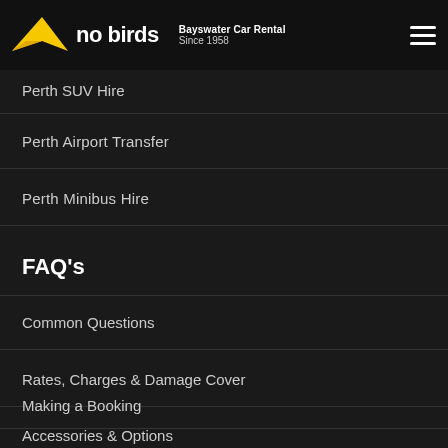no birds – Bayswater Car Rental Since 1958
Perth SUV Hire
Perth Airport Transfer
Perth Minibus Hire
FAQ's
Common Questions
Rates, Charges & Damage Cover
Making a Booking
Accessories & Options